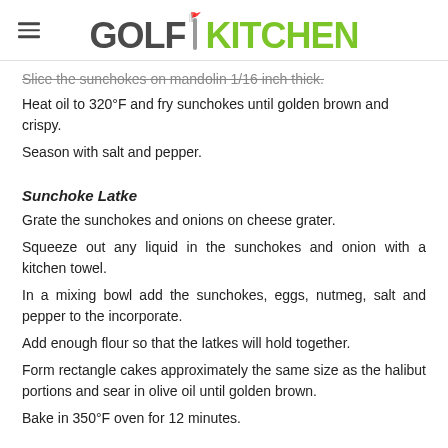GOLF KITCHEN
Slice the sunchokes on mandolin 1/16 inch thick.
Heat oil to 320°F and fry sunchokes until golden brown and crispy.
Season with salt and pepper.
Sunchoke Latke
Grate the sunchokes and onions on cheese grater.
Squeeze out any liquid in the sunchokes and onion with a kitchen towel.
In a mixing bowl add the sunchokes, eggs, nutmeg, salt and pepper to the incorporate.
Add enough flour so that the latkes will hold together.
Form rectangle cakes approximately the same size as the halibut portions and sear in olive oil until golden brown.
Bake in 350°F oven for 12 minutes.